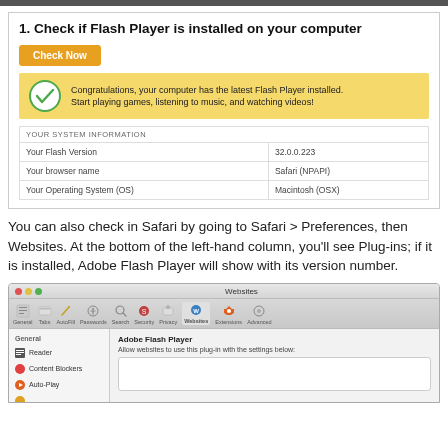1. Check if Flash Player is installed on your computer
[Figure (screenshot): Adobe Flash Player check page showing a yellow success banner with green checkmark saying 'Congratulations, your computer has the latest Flash Player installed. Start playing games, listening to music, and watching videos!' and a system information table showing Flash Version 32.0.0.223, browser name Safari (NPAPI), and Operating System Macintosh (OSX).]
You can also check in Safari by going to Safari > Preferences, then Websites. At the bottom of the left-hand column, you'll see Plug-ins; if it is installed, Adobe Flash Player will show with its version number.
[Figure (screenshot): Safari browser Websites preferences panel showing Adobe Flash Player plugin settings with a sidebar containing General section items: Reader, Content Blockers, Auto-Play.]